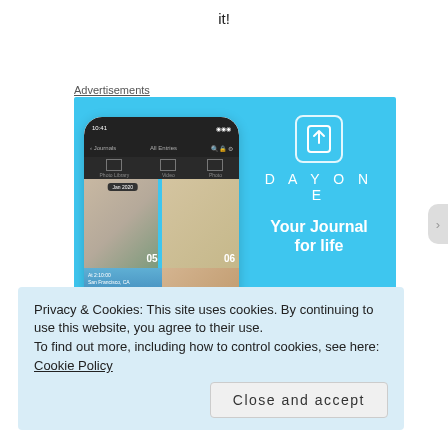it!
Advertisements
[Figure (screenshot): DayOne app advertisement showing a smartphone mockup with photo journal entries and the DayOne logo with tagline 'Your Journal for life' on a light blue background]
Privacy & Cookies: This site uses cookies. By continuing to use this website, you agree to their use.
To find out more, including how to control cookies, see here: Cookie Policy
Close and accept